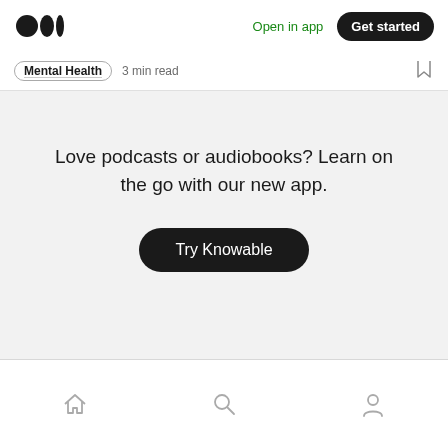Medium logo | Open in app | Get started
Mental Health  3 min read
Love podcasts or audiobooks? Learn on the go with our new app.
Try Knowable
Home | Search | Profile